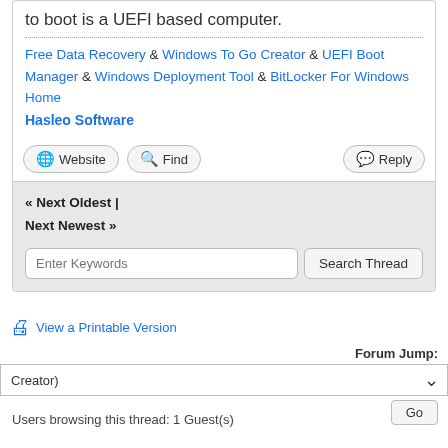to boot is a UEFI based computer.
Free Data Recovery & Windows To Go Creator & UEFI Boot Manager & Windows Deployment Tool & BitLocker For Windows Home Hasleo Software
Website | Find | Reply
« Next Oldest | Next Newest »
Enter Keywords | Search Thread
View a Printable Version
Forum Jump:
Creator)
Go
Users browsing this thread: 1 Guest(s)
Default | Go